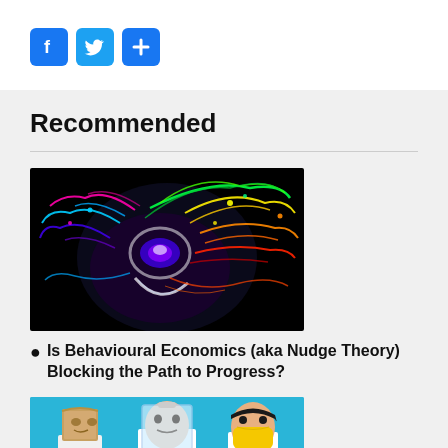[Figure (illustration): Social media share buttons: Facebook (blue f icon), Twitter (blue bird icon), and a blue plus/share icon]
Recommended
[Figure (illustration): Colorful abstract digital art on black background showing swirling rainbow-colored particles resembling a brain or explosion]
Is Behavioural Economics (aka Nudge Theory) Blocking the Path to Progress?
[Figure (photo): Three people on blue background wearing improvised face coverings: left person has paper bag, center person has plastic shield, right person has yellow mask]